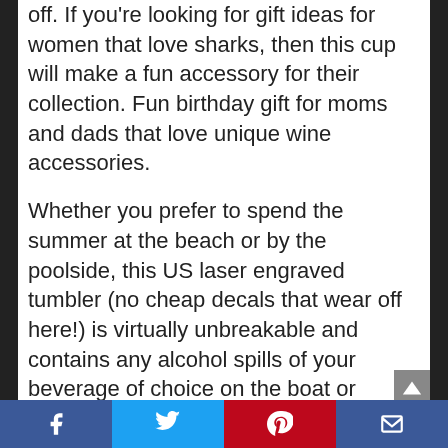off. If you're looking for gift ideas for women that love sharks, then this cup will make a fun accessory for their collection. Fun birthday gift for moms and dads that love unique wine accessories.
Whether you prefer to spend the summer at the beach or by the poolside, this US laser engraved tumbler (no cheap decals that wear off here!) is virtually unbreakable and contains any alcohol spills of your beverage of choice on the boat or anywhere outdoors.
Fantastic birthday gift for your wine loving friends, mom, sister, aunt, grandma or bff